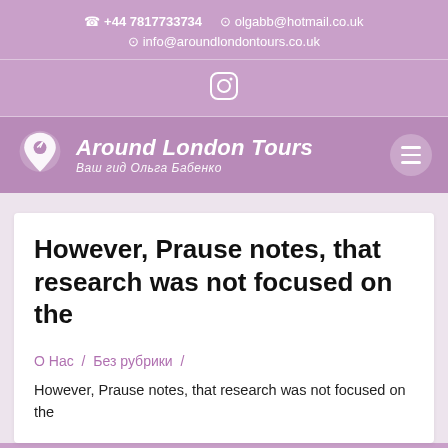+44 7817733734   olgabb@hotmail.co.uk   info@aroundlondontours.co.uk
[Figure (logo): Instagram icon in circle outline, white on purple background]
[Figure (logo): Around London Tours logo with map pin icon, brand name in white italic bold, subtitle in Russian: Ваш гид Ольга Бабенко]
However, Prause notes, that research was not focused on the
О Нас / Без рубрики /
However, Prause notes, that research was not focused on the